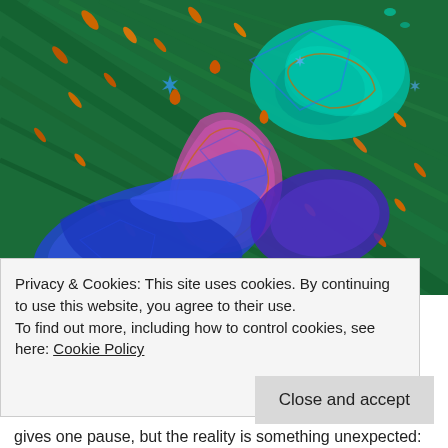[Figure (photo): Colorful polarized light microscopy image showing abstract swirling patterns in green, blue, teal, pink/magenta and orange-gold colors, resembling biological or crystalline structures under polarized light.]
Privacy & Cookies: This site uses cookies. By continuing to use this website, you agree to their use.
To find out more, including how to control cookies, see here: Cookie Policy
Close and accept
gives one pause, but the reality is something unexpected: a